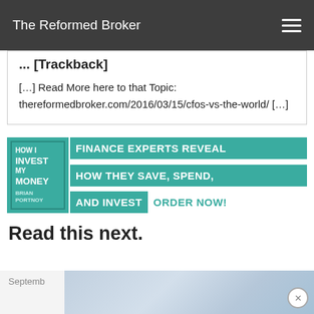The Reformed Broker
... [Trackback]
[…] Read More here to that Topic: thereformedbroker.com/2016/03/15/cfos-vs-the-world/ […]
[Figure (infographic): Advertisement banner for book 'How I Invest My Money' — Finance experts reveal how they save, spend, and invest. ORDER NOW!]
Read this next.